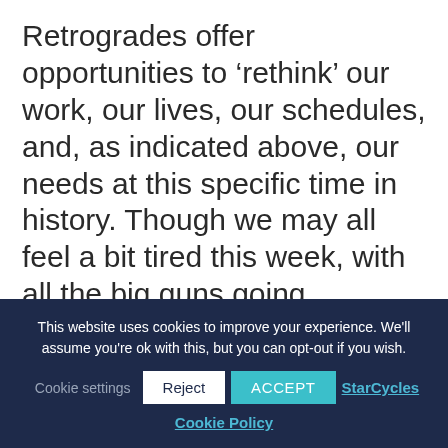Retrogrades offer opportunities to 'rethink' our work, our lives, our schedules, and, as indicated above, our needs at this specific time in history. Though we may all feel a bit tired this week, with all the big guns going retrograde, once the week is over, we all set ourselves down to re-think what our lives require now and what we need to do to change them based on the internal discoveries of consciousness from these last few months.
This website uses cookies to improve your experience. We'll assume you're ok with this, but you can opt-out if you wish.
Cookie settings  Reject  ACCEPT  StarCycles  Cookie Policy